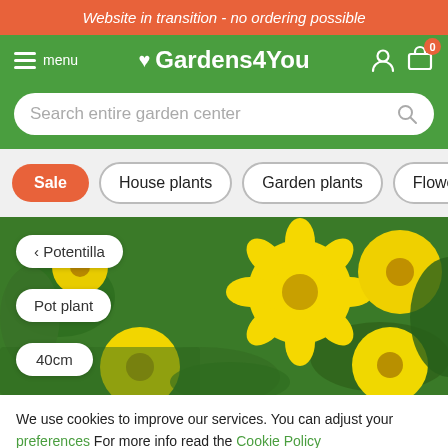Website in transition - no ordering possible
Gardens4You menu
Search entire garden center
Sale
House plants
Garden plants
Flower bul
[Figure (photo): Yellow Potentilla flowers with green foliage background. Overlaid badges show: back arrow with 'Potentilla', 'Pot plant', '40cm']
We use cookies to improve our services. You can adjust your preferences For more info read the Cookie Policy
ACCEPT